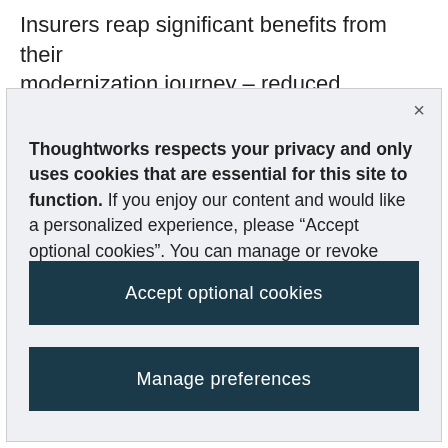Insurers reap significant benefits from their modernization journey – reduced operating costs,
Thoughtworks respects your privacy and only uses cookies that are essential for this site to function. If you enjoy our content and would like a personalized experience, please “Accept optional cookies”. You can manage or revoke consent at any time. Privacy policy
Accept optional cookies
Manage preferences